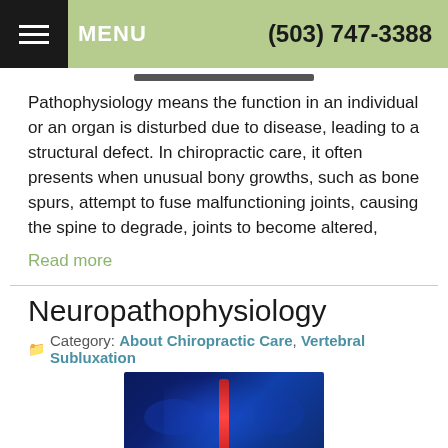MENU  (503) 747-3388
Pathophysiology means the function in an individual or an organ is disturbed due to disease, leading to a structural defect. In chiropractic care, it often presents when unusual bony growths, such as bone spurs, attempt to fuse malfunctioning joints, causing the spine to degrade, joints to become altered,
Read more
Neuropathophysiology
Category: About Chiropractic Care, Vertebral Subluxation
[Figure (photo): Medical illustration of human spine/nervous system with blue and red coloring showing spinal column]